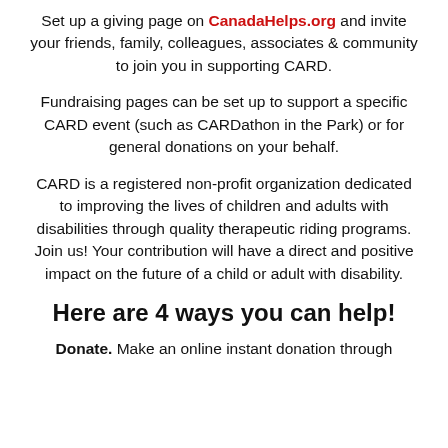Set up a giving page on CanadaHelps.org and invite your friends, family, colleagues, associates & community to join you in supporting CARD.
Fundraising pages can be set up to support a specific CARD event (such as CARDathon in the Park) or for general donations on your behalf.
CARD is a registered non-profit organization dedicated to improving the lives of children and adults with disabilities through quality therapeutic riding programs. Join us! Your contribution will have a direct and positive impact on the future of a child or adult with disability.
Here are 4 ways you can help!
Donate. Make an online instant donation through